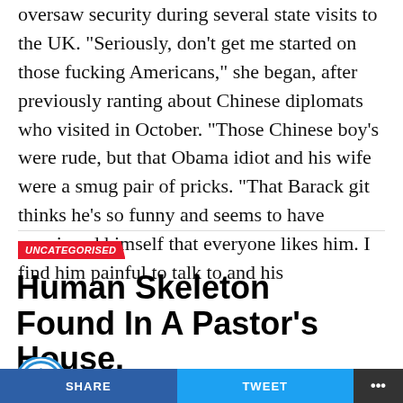oversaw security during several state visits to the UK. “Seriously, don’t get me started on those fucking Americans,” she began, after previously ranting about Chinese diplomats who visited in October. “Those Chinese boy’s were rude, but that Obama idiot and his wife were a smug pair of pricks. “That Barack git thinks he’s so funny and seems to have convinced himself that everyone likes him. I find him painful to talk to and his
UNCATEGORISED
Human Skeleton Found In A Pastor’s House.
Published 6 years agoon November 22, 2016
By @xtraconfl
SHARE | TWEET | …